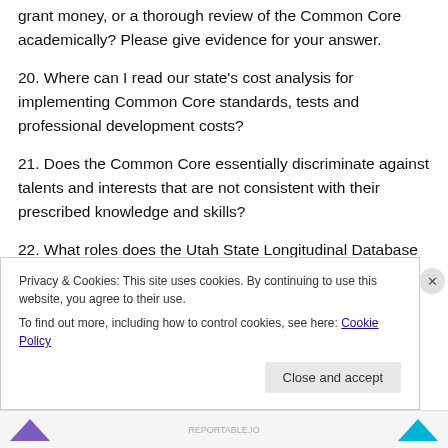grant money, or a thorough review of the Common Core academically? Please give evidence for your answer.
20. Where can I read our state's cost analysis for implementing Common Core standards, tests and professional development costs?
21. Does the Common Core essentially discriminate against talents and interests that are not consistent with their prescribed knowledge and skills?
22. What roles does the Utah State Longitudinal Database
Privacy & Cookies: This site uses cookies. By continuing to use this website, you agree to their use.
To find out more, including how to control cookies, see here: Cookie Policy